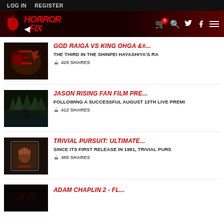LOG IN   REGISTER
[Figure (logo): Horror Fix website header banner with red logo and navigation icons including cart (0), search, Twitter, Facebook, and hamburger menu]
GOD RAIGA VS KING OHGA &#... | THE THIRD IN THE SHINPEI HAYASHIYA'S RA | 429 SHARES
JASON RISING FAN FILM PRE... | FOLLOWING A SUCCESSFUL AUGUST 13TH LIVE PREMI | 412 SHARES
TRIVIAL PURSUIT: ULTIMATE... | SINCE ITS FIRST RELEASE IN 1981, TRIVIAL PURS | 385 SHARES
ADAM CHAPLIN 2 - FL...